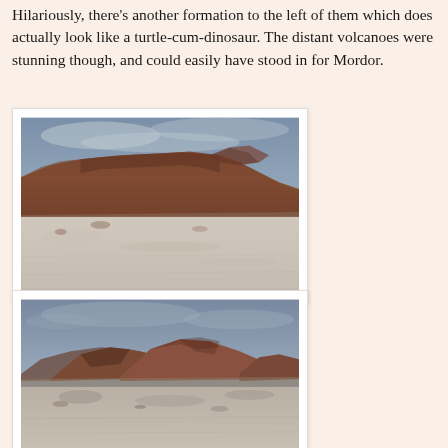Hilariously, there's another formation to the left of them which does actually look like a turtle-cum-dinosaur. The distant volcanoes were stunning though, and could easily have stood in for Mordor.
[Figure (photo): Desert landscape photograph showing rust-brown layered rock cliffs/formations in the background with a white salt flat or desert floor in the foreground, under an overcast grey-blue sky.]
[Figure (photo): Desert landscape photograph showing lower rounded brown rock formations and hills with a salt-encrusted or sandy desert floor in the foreground, under an overcast grey-blue sky.]